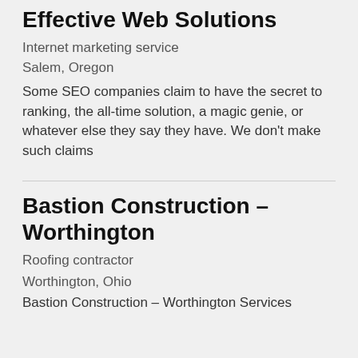Effective Web Solutions
Internet marketing service
Salem, Oregon
Some SEO companies claim to have the secret to ranking, the all-time solution, a magic genie, or whatever else they say they have. We don’t make such claims
Bastion Construction – Worthington
Roofing contractor
Worthington, Ohio
Bastion Construction – Worthington Services